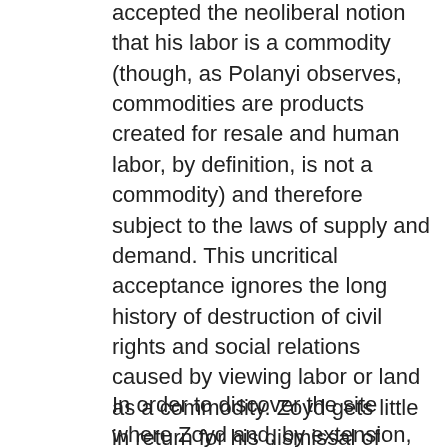accepted the neoliberal notion that his labor is a commodity (though, as Polanyi observes, commodities are products created for resale and human labor, by definition, is not a commodity) and therefore subject to the laws of supply and demand. This uncritical acceptance ignores the long history of destruction of civil rights and social relations caused by viewing labor or land as a commodity. Zoyd gets little in return for his dismissal of labor rights other than the vulnerability of a paycheck-to-paycheck existence. Thus, Zoyd's self-identification as a countercultural figure is complicated by his complicity. The first thing he must do to engage in viable resistance is recognize this complicity. He is dependent upon the federal government for his livelihood. His scab status helps to perpetuate the ever-widening divide between the those who control the wealth and those who create it. His complicity undermines his resistance. Nonetheless, as I argue below, his complicity does not completely eliminate his power to resist.
In order to discover the site where Zoyd and, by extension, Pynchon's audience can resist Empire despite